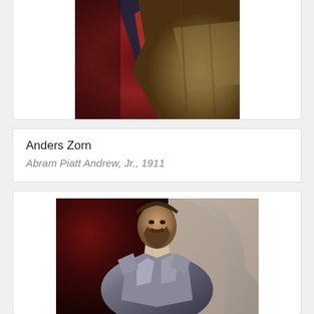[Figure (photo): Partial view of a painting by Anders Zorn showing a figure with red and dark elements, painterly style]
Anders Zorn
Abram Piatt Andrew, Jr., 1911
[Figure (photo): Painting of a bearded man in armor, classical portrait style, possibly Baroque period, dark red background with architectural elements]